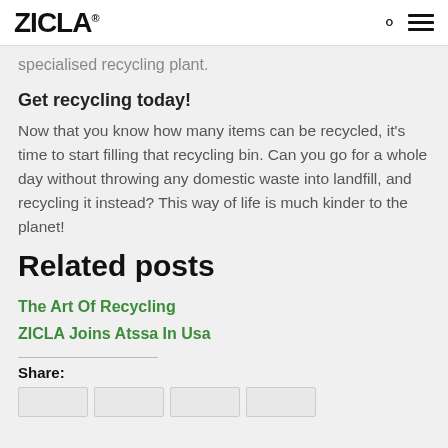ZICLA
specialised recycling plant.
Get recycling today!
Now that you know how many items can be recycled, it's time to start filling that recycling bin. Can you go for a whole day without throwing any domestic waste into landfill, and recycling it instead? This way of life is much kinder to the planet!
Related posts
The Art Of Recycling
ZICLA Joins Atssa In Usa
Share: